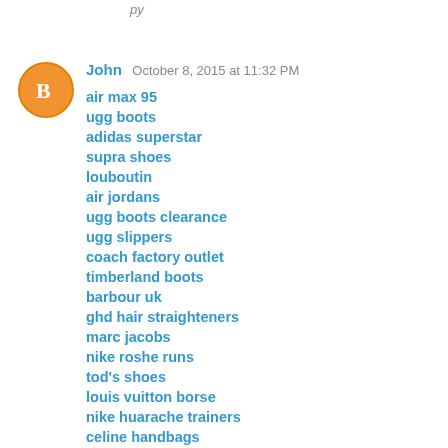py
John  October 8, 2015 at 11:32 PM
air max 95
ugg boots
adidas superstar
supra shoes
louboutin
air jordans
ugg boots clearance
ugg slippers
coach factory outlet
timberland boots
barbour uk
ghd hair straighteners
marc jacobs
nike roshe runs
tod's shoes
louis vuitton borse
nike huarache trainers
celine handbags
pandora jewelry